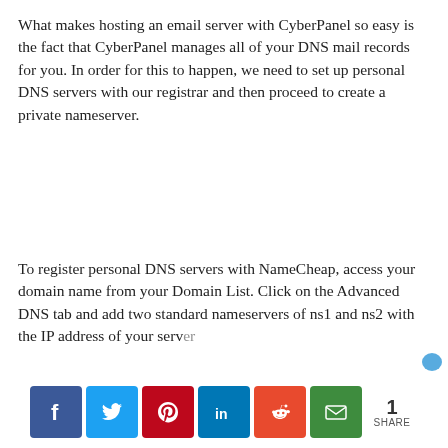What makes hosting an email server with CyberPanel so easy is the fact that CyberPanel manages all of your DNS mail records for you. In order for this to happen, we need to set up personal DNS servers with our registrar and then proceed to create a private nameserver.
To register personal DNS servers with NameCheap, access your domain name from your Domain List. Click on the Advanced DNS tab and add two standard nameservers of ns1 and ns2 with the IP address of your server
[Figure (infographic): Social share bar with buttons for Facebook, Twitter, Pinterest, LinkedIn, Reddit, Email, and a share count showing 1 SHARE]